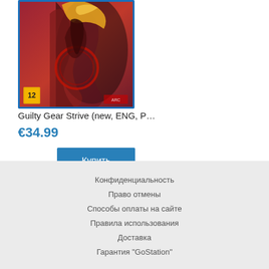[Figure (photo): Product image of Guilty Gear Strive video game case for PlayStation, showing anime-style fighting game artwork on a red background with blue PS case border and age rating 12 badge]
Guilty Gear Strive (new, ENG, P…
€34.99
Купить
Конфиденциальность
Право отмены
Способы оплаты на сайте
Правила использования
Доставка
Гарантия "GoStation"